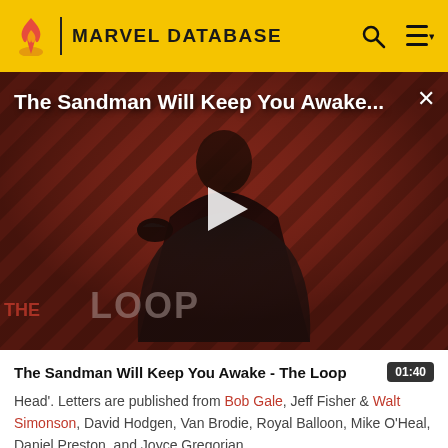MARVEL DATABASE
[Figure (screenshot): Video thumbnail showing a dark-robed figure (Sandman) against a red and black diagonal stripe background with 'THE LOOP' watermark. A play button is overlaid in the center. The title 'The Sandman Will Keep You Awake...' appears at the top of the video.]
The Sandman Will Keep You Awake - The Loop
Head'. Letters are published from Bob Gale, Jeff Fisher & Walt Simonson, David Hodgen, Van Brodie, Royal Balloon, Mike O'Heal, Daniel Preston, and Joyce Gregorian.